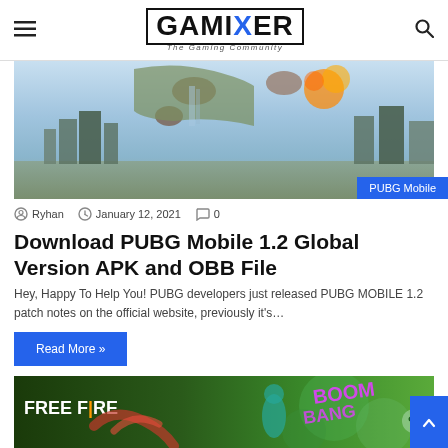GAMIXER - The Gaming Community
[Figure (photo): PUBG Mobile game hero image showing a destroyed cityscape with floating debris and explosions. Tag overlay: PUBG Mobile]
Ryhan   January 12, 2021   0
Download PUBG Mobile 1.2 Global Version APK and OBB File
Hey, Happy To Help You! PUBG developers just released PUBG MOBILE 1.2 patch notes on the official website, previously it's…
Read More »
[Figure (screenshot): Free Fire game promotional banner with colorful graffiti background, character art, and BANG BANG BOOM text]